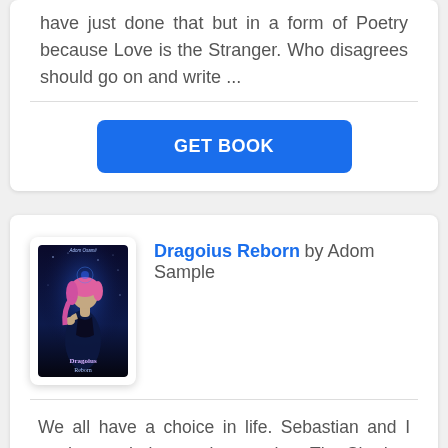have just done that but in a form of Poetry because Love is the Stranger. Who disagrees should go on and write ...
GET BOOK
Dragoius Reborn by Adom Sample
We all have a choice in life. Sebastian and I made our choice—to be together. The Shadow Lands became our sanctuary after everything we'd sacrificed. Our desire for one